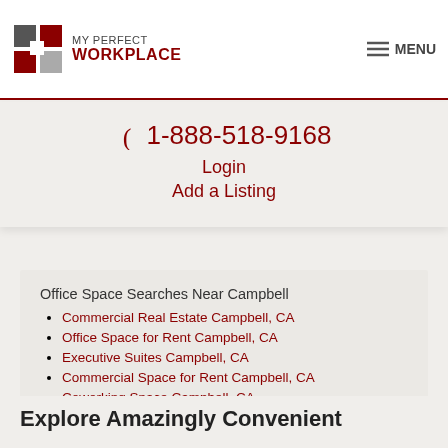MY PERFECT WORKPLACE — MENU
1-888-518-9168
Login
Add a Listing
Office Space Searches Near Campbell
Commercial Real Estate Campbell, CA
Office Space for Rent Campbell, CA
Executive Suites Campbell, CA
Commercial Space for Rent Campbell, CA
Coworking Space Campbell, CA
Explore Amazingly Convenient